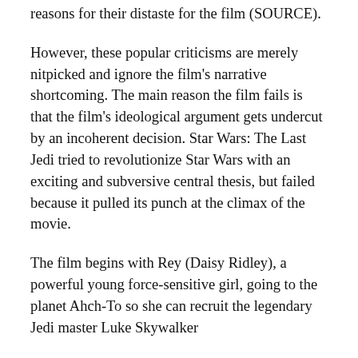reasons for their distaste for the film (SOURCE).
However, these popular criticisms are merely nitpicked and ignore the film's narrative shortcoming. The main reason the film fails is that the film's ideological argument gets undercut by an incoherent decision. Star Wars: The Last Jedi tried to revolutionize Star Wars with an exciting and subversive central thesis, but failed because it pulled its punch at the climax of the movie.
The film begins with Rey (Daisy Ridley), a powerful young force-sensitive girl, going to the planet Ahch-To so she can recruit the legendary Jedi master Luke Skywalker